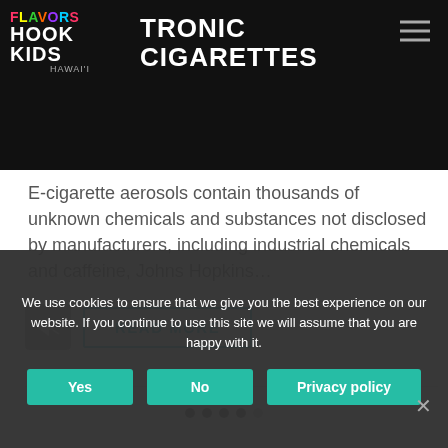FLAVORS HOOK KIDS HAWAI'I — ELECTRONIC CIGARETTES
ELEC​TRONIC CIGARETTES
E-cigarette aerosols contain thousands of unknown chemicals and substances not disclosed by manufacturers, including industrial chemicals and caffeine, Johns Hopkins…
READ MORE
We use cookies to ensure that we give you the best experience on our website. If you continue to use this site we will assume that you are happy with it.
Yes
No
Privacy policy